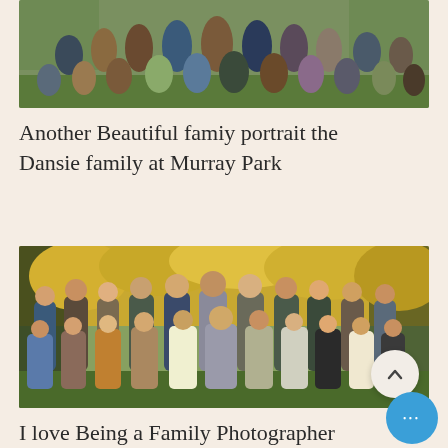[Figure (photo): Family group portrait photo at top, partially cropped, showing multiple people seated and standing outdoors on grass.]
Another Beautiful famiy portrait the Dansie family at Murray Park
[Figure (photo): Large family portrait of the Dansie family at Murray Park, taken outdoors with yellow autumn trees in background. Many adults and children posed in two rows.]
I love Being a Family Photographer  The Dastrup